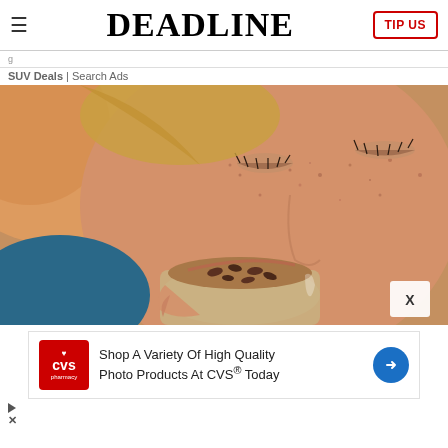DEADLINE | TIP US
SUV Deals | Search Ads
[Figure (photo): Close-up of a freckled woman with eyes closed, drinking from a glass cup containing a latte or coffee drink with cocoa powder sprinkled on top]
Shop A Variety Of High Quality Photo Products At CVS® Today